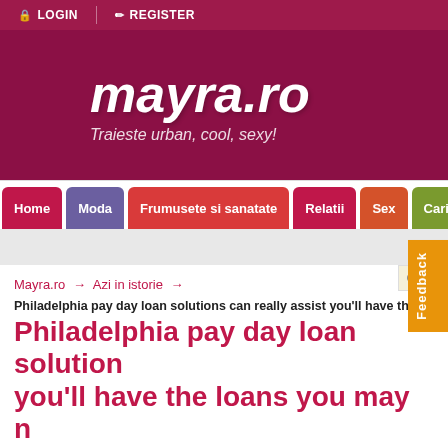LOGIN / REGISTER
[Figure (logo): mayra.ro logo with tagline Traieste urban, cool, sexy!]
Home | Moda | Frumusete si sanatate | Relatii | Sex | Cariera
Mayra.ro → Azi in istorie →
Philadelphia pay day loan solutions can really assist you'll have the
Philadelphia pay day loan solutions you'll have the loans you may n
Tweet
+ YAHOO!
Azi in istorie
Philadelphia pay day loan solutions can really assist you'll have